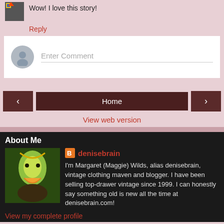Wow! I love this story!
Reply
Enter Comment
‹
Home
›
View web version
About Me
denisebrain
I'm Margaret (Maggie) Wilds, alias denisebrain, vintage clothing maven and blogger. I have been selling top-drawer vintage since 1999. I can honestly say something old is new all the time at denisebrain.com!
View my complete profile